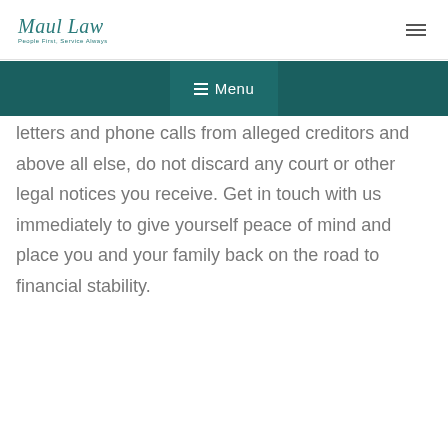Maul Law — People First, Service Always
☰ Menu
letters and phone calls from alleged creditors and above all else, do not discard any court or other legal notices you receive. Get in touch with us immediately to give yourself peace of mind and place you and your family back on the road to financial stability.